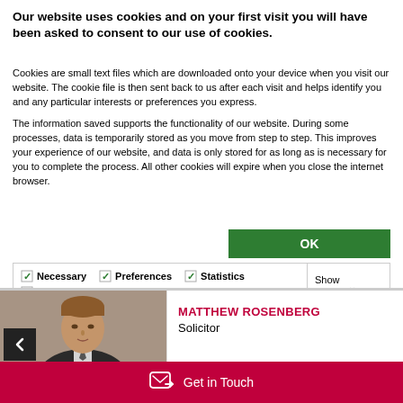Our website uses cookies and on your first visit you will have been asked to consent to our use of cookies.
Cookies are small text files which are downloaded onto your device when you visit our website. The cookie file is then sent back to us after each visit and helps identify you and any particular interests or preferences you express.
The information saved supports the functionality of our website. During some processes, data is temporarily stored as you move from step to step. This improves your experience of our website, and data is only stored for as long as is necessary for you to complete the process. All other cookies will expire when you close the internet browser.
[Figure (other): Green OK button and cookie consent checkboxes panel with Necessary, Preferences, Statistics, Marketing options checked and Show details dropdown]
[Figure (photo): Headshot photo of Matthew Rosenberg, a young man in a suit]
MATTHEW ROSENBERG
Solicitor
Get in Touch